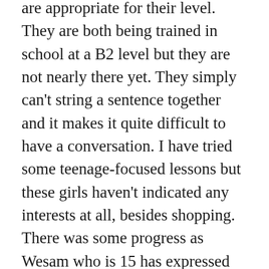are appropriate for their level. They are both being trained in school at a B2 level but they are not nearly there yet. They simply can't string a sentence together and it makes it quite difficult to have a conversation. I have tried some teenage-focused lessons but these girls haven't indicated any interests at all, besides shopping. There was some progress as Wesam who is 15 has expressed an interest in design. I am going to try to find some lessons on design to pique her interest. She's also a bit of a self-starter so maybe I will try to discuss starting your own business as a language topic.
The Writer's group was canceled because the library was closed for the holiday and I haven't looked at my laptop in terms of writing since